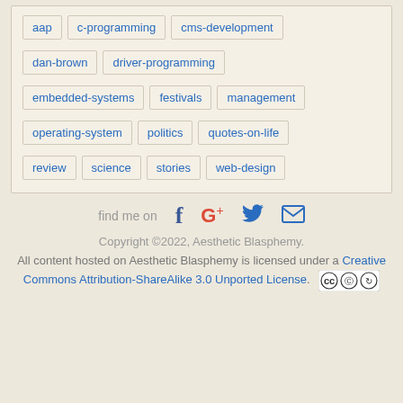aap
c-programming
cms-development
dan-brown
driver-programming
embedded-systems
festivals
management
operating-system
politics
quotes-on-life
review
science
stories
web-design
find me on
Copyright ©2022, Aesthetic Blasphemy.
All content hosted on Aesthetic Blasphemy is licensed under a Creative Commons Attribution-ShareAlike 3.0 Unported License.